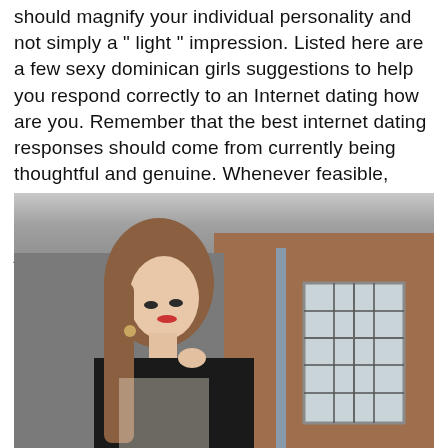should magnify your individual personality and not simply a " light " impression. Listed here are a few sexy dominican girls suggestions to help you respond correctly to an Internet dating how are you. Remember that the best internet dating responses should come from currently being thoughtful and genuine. Whenever feasible, avoid requesting questions that will assist the other person uncomfortable or make them feel judged.
[Figure (photo): A young woman with long straight brown hair, wearing a black polka-dot sheer top, standing outdoors in front of a brick wall building with large windows. She is looking over her shoulder toward the camera.]